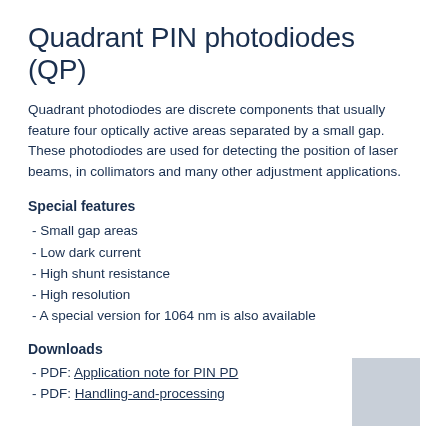Quadrant PIN photodiodes (QP)
Quadrant photodiodes are discrete components that usually feature four optically active areas separated by a small gap. These photodiodes are used for detecting the position of laser beams, in collimators and many other adjustment applications.
Special features
- Small gap areas
- Low dark current
- High shunt resistance
- High resolution
- A special version for 1064 nm is also available
Downloads
- PDF: Application note for PIN PD
- PDF: Handling-and-processing